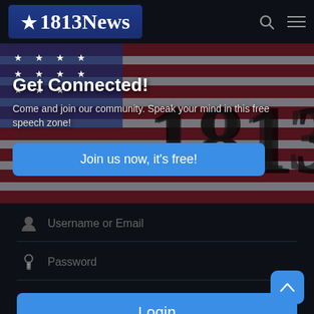★1813News
[Figure (screenshot): Hero banner with American flag background showing '1813' in large text. Overlay text reads 'Get Connected!' and 'Come and join our community. Speak your mind in this free speech zone!' with a blue 'Join us now, it's free!' button.]
Get Connected!
Come and join our community. Speak your mind in this free speech zone!
Join us now, it's free!
Username or Email
Password
Login
Remember Me